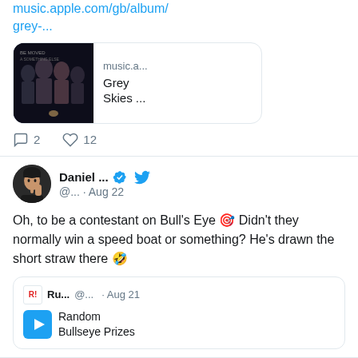music.apple.com/gb/album/grey-...
[Figure (screenshot): Apple Music link preview card showing album art (four people in dark/moody photo) with text 'music.a... Grey Skies ...']
2 comments, 12 likes
Daniel ... @... · Aug 22
Oh, to be a contestant on Bull's Eye 🎯 Didn't they normally win a speed boat or something? He's drawn the short straw there 🤣
Ru... @... · Aug 21 Random Bullseye Prizes